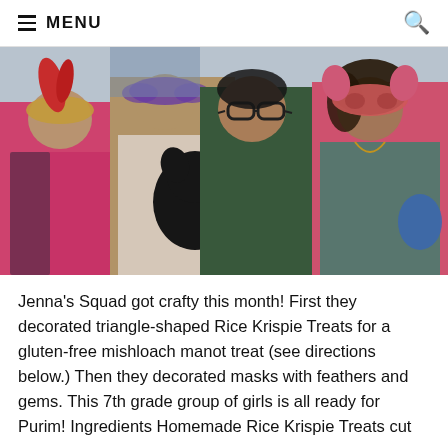≡ MENU
[Figure (photo): Four girls wearing decorative masks with feathers and gems, posing together. One girl holds a small black dog. They are wearing colorful jackets and costumes, ready for Purim.]
Jenna's Squad got crafty this month!  First they decorated triangle-shaped Rice Krispie Treats for a gluten-free mishloach manot treat (see directions below.)  Then they decorated masks with feathers and gems.  This 7th grade group of girls is all ready for Purim! Ingredients Homemade Rice Krispie Treats cut